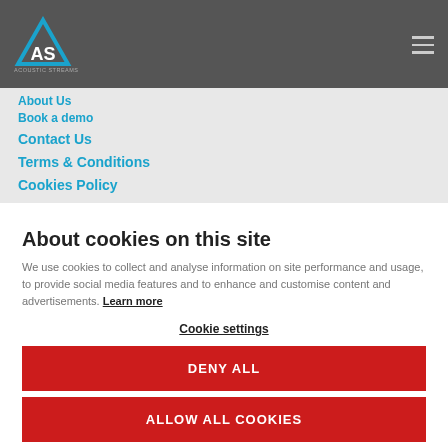[Figure (logo): Acoustic Streams logo with AS triangle in grey header bar]
About Us
Book a demo
Contact Us
Terms & Conditions
Cookies Policy
About cookies on this site
We use cookies to collect and analyse information on site performance and usage, to provide social media features and to enhance and customise content and advertisements. Learn more
Cookie settings
DENY ALL
ALLOW ALL COOKIES